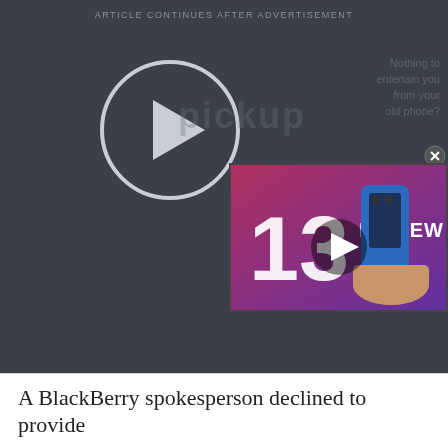ARTICLE CONTINUES AFTER ADVERTISEMENT
[Figure (screenshot): Dark advertisement panel with a large play button circle on the left, faded text on the right. A floating video thumbnail in the lower right shows an iPhone 13 review with a play button overlay, a red close button, and a power icon.]
A BlackBerry spokesperson declined to provide